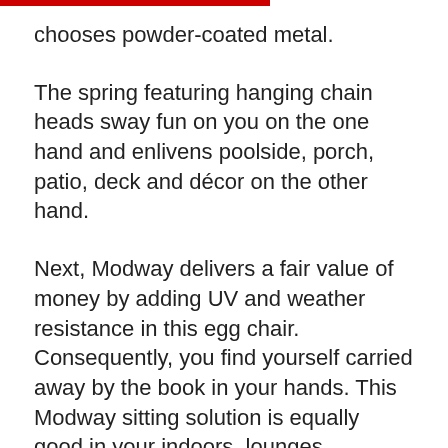chooses powder-coated metal.
The spring featuring hanging chain heads sway fun on you on the one hand and enlivens poolside, porch, patio, deck and décor on the other hand.
Next, Modway delivers a fair value of money by adding UV and weather resistance in this egg chair. Consequently, you find yourself carried away by the book in your hands. This Modway sitting solution is equally good in your indoors, lounges, bedrooms, and living rooms.
You may also want to visit Best Coffee Warmer in